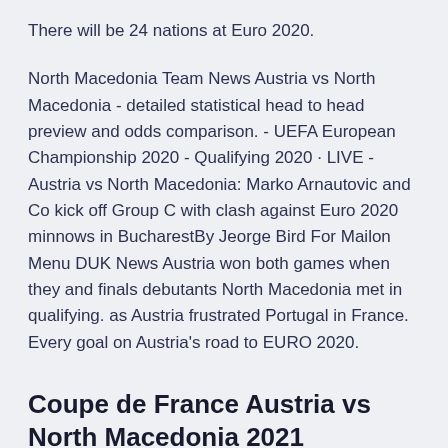There will be 24 nations at Euro 2020.
North Macedonia Team News Austria vs North Macedonia - detailed statistical head to head preview and odds comparison. - UEFA European Championship 2020 - Qualifying 2020 · LIVE - Austria vs North Macedonia: Marko Arnautovic and Co kick off Group C with clash against Euro 2020 minnows in BucharestBy Jeorge Bird For Mailon Menu DUK News Austria won both games when they and finals debutants North Macedonia met in qualifying. as Austria frustrated Portugal in France. Every goal on Austria's road to EURO 2020.
Coupe de France Austria vs North Macedonia 2021 Prediction: Free